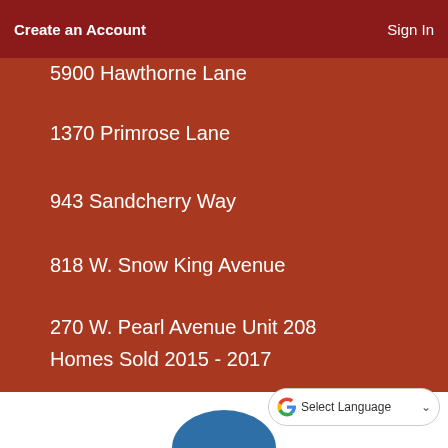Create an Account | Sign In
5900 Hawthorne Lane
1370 Primrose Lane
943 Sandcherry Way
818 W. Snow King Avenue
270 W. Pearl Avenue Unit 208
Homes Sold 2015 - 2017